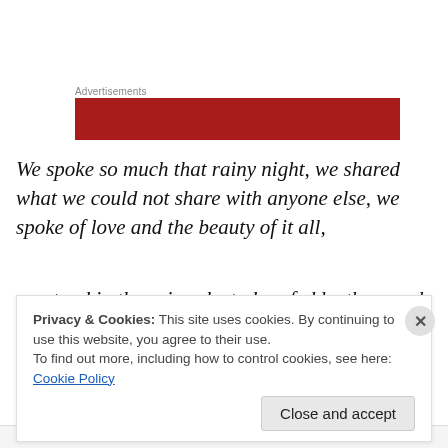Advertisements
[Figure (other): Red advertisement banner placeholder]
We spoke so much that rainy night, we shared what we could not share with anyone else, we spoke of love and the beauty of it all,
we stood in the rainy sleet, dwarfed by the grey buildings
Privacy & Cookies: This site uses cookies. By continuing to use this website, you agree to their use.
To find out more, including how to control cookies, see here: Cookie Policy
Close and accept